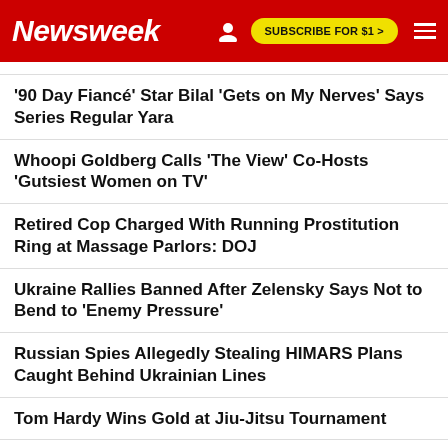Newsweek | SUBSCRIBE FOR $1 >
'90 Day Fiancé' Star Bilal 'Gets on My Nerves' Says Series Regular Yara
Whoopi Goldberg Calls 'The View' Co-Hosts 'Gutsiest Women on TV'
Retired Cop Charged With Running Prostitution Ring at Massage Parlors: DOJ
Ukraine Rallies Banned After Zelensky Says Not to Bend to 'Enemy Pressure'
Russian Spies Allegedly Stealing HIMARS Plans Caught Behind Ukrainian Lines
Tom Hardy Wins Gold at Jiu-Jitsu Tournament
Big Tech Is Fully Cooperating With China's Censorship